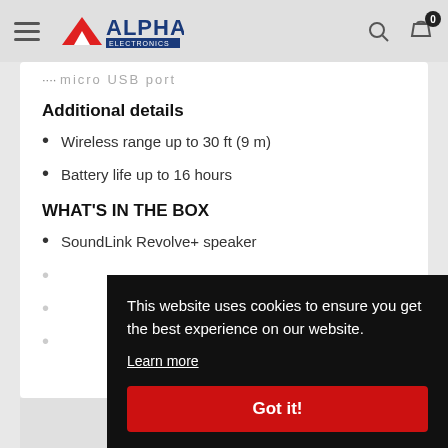Alpha Electronics navigation bar with hamburger menu, logo, search and cart icons
micro USB port
Additional details
Wireless range up to 30 ft (9 m)
Battery life up to 16 hours
WHAT'S IN THE BOX
SoundLink Revolve+ speaker
This website uses cookies to ensure you get the best experience on our website. Learn more
Got it!